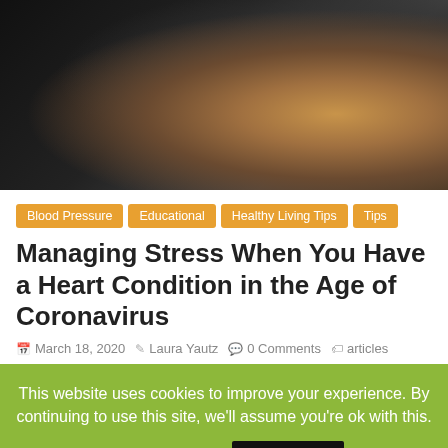[Figure (photo): Person sitting on a brown leather couch in a dark room, suggesting stress or anxiety. Only torso and legs visible, wearing dark clothing.]
Blood Pressure
Educational
Healthy Living Tips
Tips
Managing Stress When You Have a Heart Condition in the Age of Coronavirus
March 18, 2020   Laura Yautz   0 Comments   articles
This website uses cookies to improve your experience. By continuing to use this site, we'll assume you're ok with this. Cookie settings  Accept